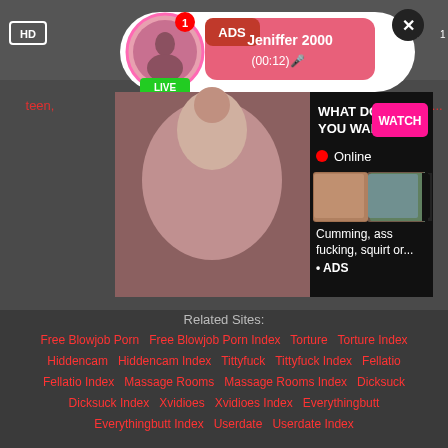[Figure (screenshot): Adult website screenshot showing a popup notification with a profile photo, 'ADS' label, 'Jeniffer 2000 (00:12)' text, LIVE badge, and a close button. Below is an adult ad banner with 'WHAT DO YOU WANT?' text, a WATCH button, Online status indicator, thumbnail images, and text 'Cumming, ass fucking, squirt or... ADS'. A partial link 'teen,' and 'r c...' are visible on the edges.]
Related Sites:
Free Blowjob Porn   Free Blowjob Porn Index   Torture   Torture Index   Hiddencam   Hiddencam Index   Tittyfuck   Tittyfuck Index   Fellatio   Fellatio Index   Massage Rooms   Massage Rooms Index   Dicksuck   Dicksuck Index   Xvidioes   Xvidioes Index   Everythingbutt   Everythingbutt Index   Userdate   Userdate Index